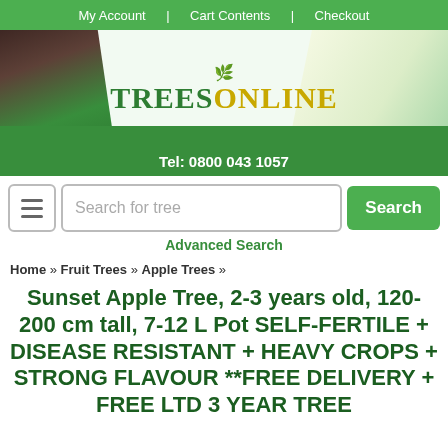My Account   Cart Contents   Checkout
[Figure (logo): TreesOnline website banner with green logo text, leaf icon, tree and fruit imagery]
Tel: 0800 043 1057
Search for tree [Search button] [Advanced Search]
Home » Fruit Trees » Apple Trees »
Sunset Apple Tree, 2-3 years old, 120-200 cm tall, 7-12 L Pot SELF-FERTILE + DISEASE RESISTANT + HEAVY CROPS + STRONG FLAVOUR **FREE DELIVERY + FREE LTD 3 YEAR TREE